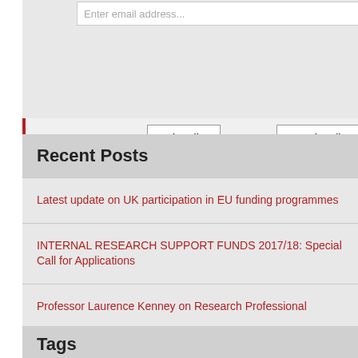Enter email address...
Subscribe   Unsubscribe
Recent Posts
Latest update on UK participation in EU funding programmes
INTERNAL RESEARCH SUPPORT FUNDS 2017/18: Special Call for Applications
Professor Laurence Kenney on Research Professional
Update on UK participation in EU funding programmes
NIHR Themed Calls: Mental Health
Tags